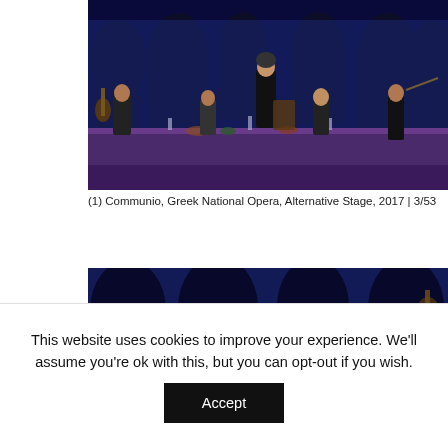[Figure (photo): Theatre performance photo: Communio, Greek National Opera, Alternative Stage, 2017. Performers in black clothing around a long table with food and drinks, musician with guitar at left, violinist at right, silhouettes of audience in background.]
(1) Communio, Greek National Opera, Alternative Stage, 2017 | 3/53
[Figure (photo): Partial theatre performance photo: silhouettes of audience members in background against blue-lit stage, partial view of performer and guitarist visible.]
This website uses cookies to improve your experience. We'll assume you're ok with this, but you can opt-out if you wish.
Accept